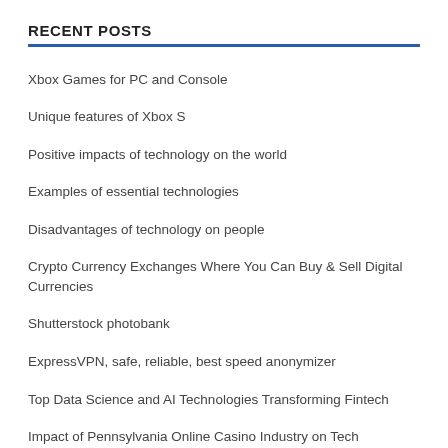RECENT POSTS
Xbox Games for PC and Console
Unique features of Xbox S
Positive impacts of technology on the world
Examples of essential technologies
Disadvantages of technology on people
Crypto Currency Exchanges Where You Can Buy & Sell Digital Currencies
Shutterstock photobank
ExpressVPN, safe, reliable, best speed anonymizer
Top Data Science and AI Technologies Transforming Fintech
Impact of Pennsylvania Online Casino Industry on Tech